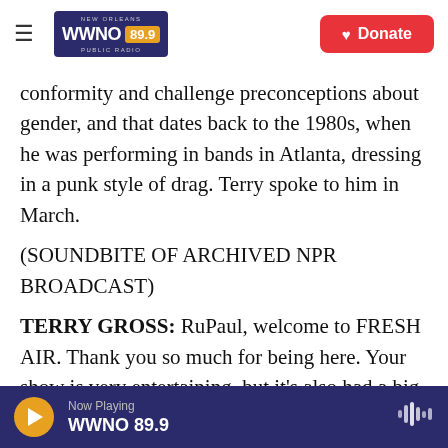NEW ORLEANS WWNO 89.9 PUBLIC RADIO | Donate
conformity and challenge preconceptions about gender, and that dates back to the 1980s, when he was performing in bands in Atlanta, dressing in a punk style of drag. Terry spoke to him in March.
(SOUNDBITE OF ARCHIVED NPR BROADCAST)
TERRY GROSS: RuPaul, welcome to FRESH AIR. Thank you so much for being here. Your show is very entertaining, but it's also had a big impact on many people's lives. It's launched the career of dozens of drag queens, but it's also had a big impact on many viewers who feel affirmed by the
Now Playing WWNO 89.9